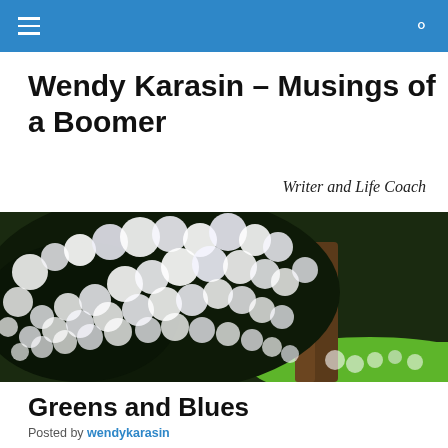≡  🔍
Wendy Karasin – Musings of a Boomer
Writer and Life Coach
[Figure (photo): Outdoor nature photo showing white flowering cherry/dogwood tree branches in bloom against a dark background with bright green grass on the right side]
Greens and Blues
Posted by wendykarasin
My friend and I go to Blue Spirit, in Costa Rica, for the first